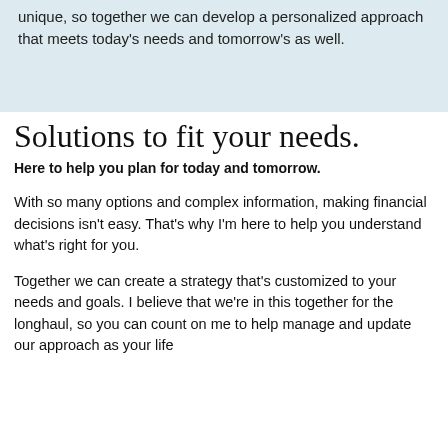unique, so together we can develop a personalized approach that meets today's needs and tomorrow's as well.
Solutions to fit your needs.
Here to help you plan for today and tomorrow.
With so many options and complex information, making financial decisions isn't easy. That's why I'm here to help you understand what's right for you.
Together we can create a strategy that's customized to your needs and goals. I believe that we're in this together for the longhaul, so you can count on me to help manage and update our approach as your life